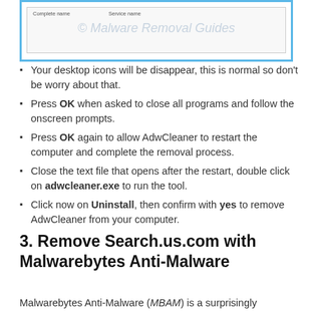[Figure (screenshot): A dialog window with columns 'Complete name' and 'Service name', with a watermark overlay reading '© Malware Removal Guides']
Your desktop icons will be disappear, this is normal so don't be worry about that.
Press OK when asked to close all programs and follow the onscreen prompts.
Press OK again to allow AdwCleaner to restart the computer and complete the removal process.
Close the text file that opens after the restart, double click on adwcleaner.exe to run the tool.
Click now on Uninstall, then confirm with yes to remove AdwCleaner from your computer.
3. Remove Search.us.com with Malwarebytes Anti-Malware
Malwarebytes Anti-Malware (MBAM) is a surprisingly